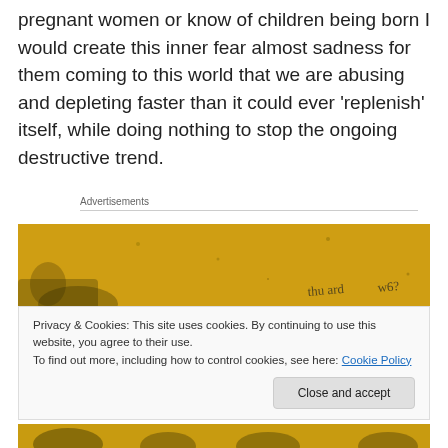pregnant women or know of children being born I would create this inner fear almost sadness for them coming to this world that we are abusing and depleting faster than it could ever 'replenish' itself, while doing nothing to stop the ongoing destructive trend.
Advertisements
[Figure (photo): Yellow textured background with partial black and white illustration, and handwritten text fragment visible]
Privacy & Cookies: This site uses cookies. By continuing to use this website, you agree to their use.
To find out more, including how to control cookies, see here: Cookie Policy
Close and accept
[Figure (photo): Yellow background with black and white illustration at the bottom edge]